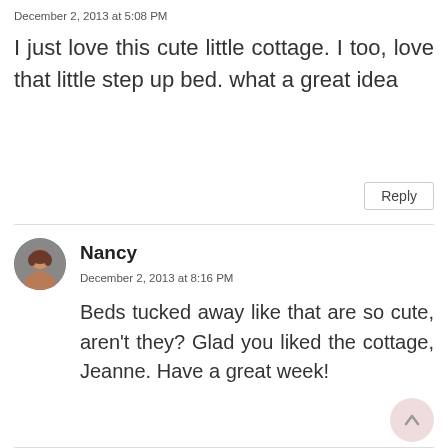December 2, 2013 at 5:08 PM
I just love this cute little cottage. I too, love that little step up bed. what a great idea
Reply
Nancy
December 2, 2013 at 8:16 PM
Beds tucked away like that are so cute, aren't they? Glad you liked the cottage, Jeanne. Have a great week!